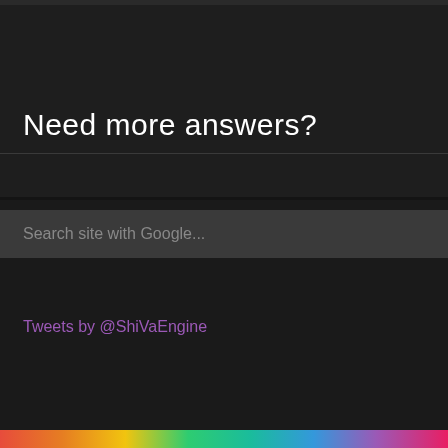Need more answers?
Search site with Google...
Tweets by @ShiVaEngine